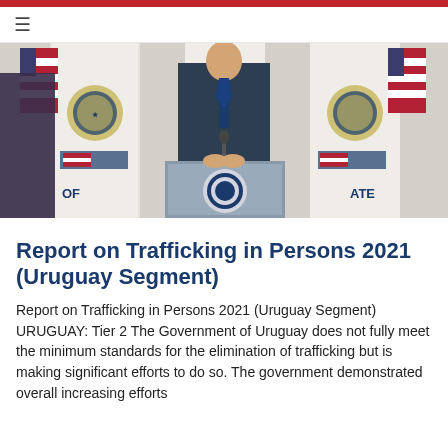≡
[Figure (photo): Official at a U.S. Department of State podium, flanked by U.S. flags and Department of State seals on white banners, in a formal diplomatic setting.]
Report on Trafficking in Persons 2021 (Uruguay Segment)
Report on Trafficking in Persons 2021 (Uruguay Segment) URUGUAY: Tier 2 The Government of Uruguay does not fully meet the minimum standards for the elimination of trafficking but is making significant efforts to do so. The government demonstrated overall increasing efforts